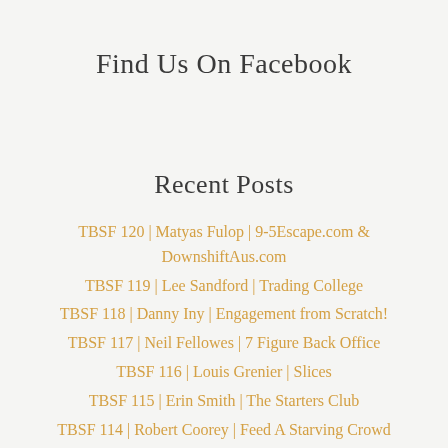Find Us On Facebook
Recent Posts
TBSF 120 | Matyas Fulop | 9-5Escape.com & DownshiftAus.com
TBSF 119 | Lee Sandford | Trading College
TBSF 118 | Danny Iny | Engagement from Scratch!
TBSF 117 | Neil Fellowes | 7 Figure Back Office
TBSF 116 | Louis Grenier | Slices
TBSF 115 | Erin Smith | The Starters Club
TBSF 114 | Robert Coorey | Feed A Starving Crowd